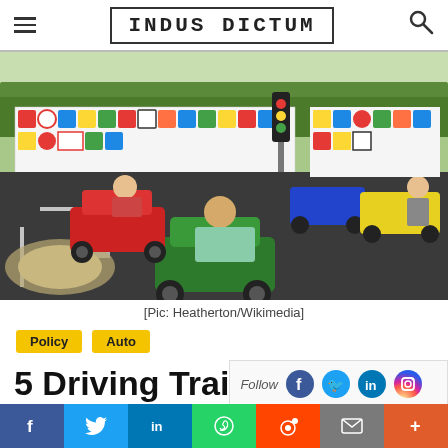INDUS DICTUM
[Figure (photo): Children driving colorful toy cars on a miniature road course with traffic signs painted on surrounding walls. One child drives a green car in foreground, another a red car, others visible in background with blue and yellow cars.]
[Pic: Heatherton/Wikimedia]
Policy
Auto
5 Driving Trai
f  y  in  WhatsApp  Reddit  Mail  +